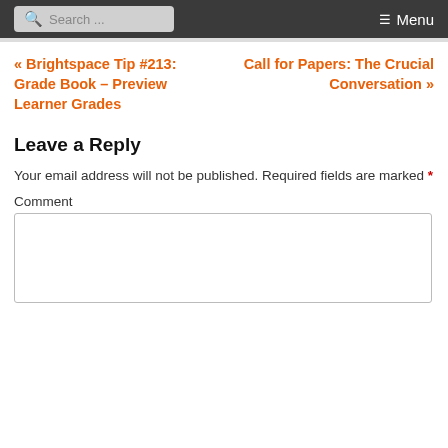Search ... Menu
« Brightspace Tip #213: Grade Book – Preview Learner Grades
Call for Papers: The Crucial Conversation »
Leave a Reply
Your email address will not be published. Required fields are marked *
Comment